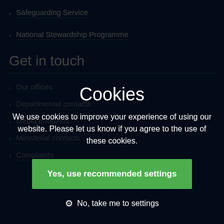Safeguarding Service
National Stewardship Programme
Get in touch
Our offices
Departmental contacts
Media enquiries
Ministerial contacts
Complaints
Cookies
We use cookies to improve your experience of using our website. Please let us know if you agree to the use of these cookies.
Yes, use recommended settings
No, take me to settings